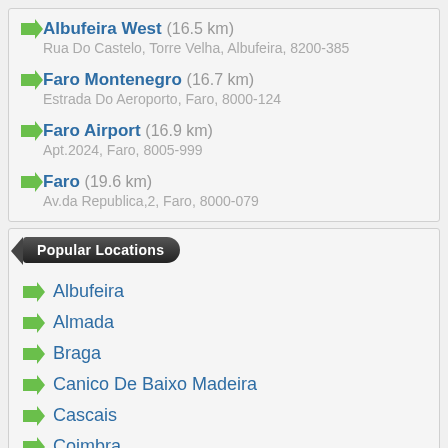Albufeira West (16.5 km) — Rua Do Castelo, Torre Velha, Albufeira, 8200-385
Faro Montenegro (16.7 km) — Estrada Do Aeroporto, Faro, 8000-124
Faro Airport (16.9 km) — Apt.2024, Faro, 8005-999
Faro (19.6 km) — Av.da Republica,2, Faro, 8000-079
Popular Locations
Albufeira
Almada
Braga
Canico De Baixo Madeira
Cascais
Coimbra
Covilha